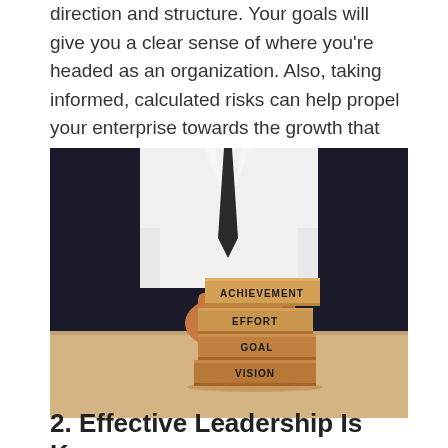direction and structure. Your goals will give you a clear sense of where you're headed as an organization. Also, taking informed, calculated risks can help propel your enterprise towards the growth that you'd like to achieve.
[Figure (photo): A person in a white shirt and dark tie holding stacked wooden blocks labeled ACHIEVEMENT, EFFORT, GOAL, and VISION from top to bottom, on a wooden table with dark background.]
2. Effective Leadership Is Key